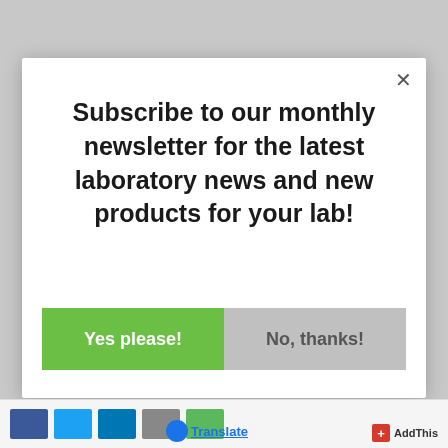Subscribe to our monthly newsletter for the latest laboratory news and new products for your lab!
Yes please!
No, thanks!